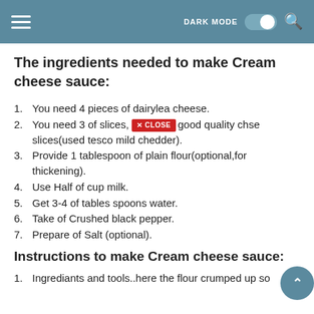DARK MODE [toggle] [search]
The ingredients needed to make Cream cheese sauce:
1. You need 4 pieces of dairylea cheese.
2. You need 3 of slices, good quality chse slices(used tesco mild chedder).
3. Provide 1 tablespoon of plain flour(optional,for thickening).
4. Use Half of cup milk.
5. Get 3-4 of tables spoons water.
6. Take of Crushed black pepper.
7. Prepare of Salt (optional).
Instructions to make Cream cheese sauce:
1. Ingrediants and tools..here the flour crumped up so